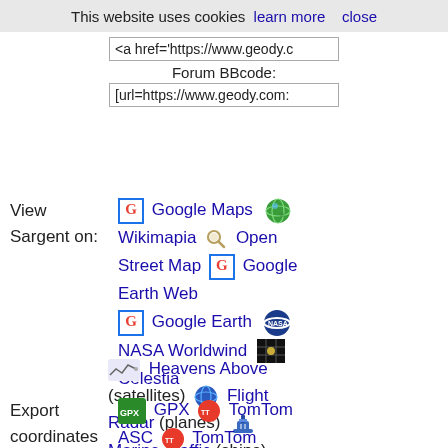This website uses cookies   learn more   close
<a href='https://www.geody.c
Forum BBcode:
[url=https://www.geody.com:
View Sargent on:  Google Maps   Wikimapia   Open Street Map   Google Earth Web   Google Earth   NASA Worldwind   Celestia
Heavens Above (satellites)   Flight Radar (planes)   Marine Traffic (ships)
Export coordinates for Sargent  GPX   TomTom   ASC   TomTom   OV2   Stellarium